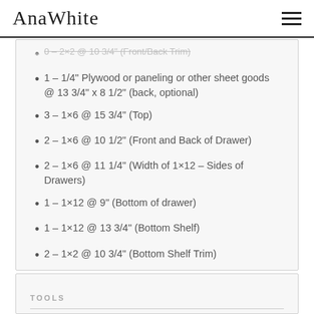AnaWhite
0 – 2×2 @ 10 3/4" (Front/Back Trim)
1 – 1/4" Plywood or paneling or other sheet goods @ 13 3/4" x 8 1/2" (back, optional)
3 – 1×6 @ 15 3/4" (Top)
2 – 1×6 @ 10 1/2" (Front and Back of Drawer)
2 – 1×6 @ 11 1/4" (Width of 1×12 – Sides of Drawers)
1 – 1×12 @ 9" (Bottom of drawer)
1 – 1×12 @ 13 3/4" (Bottom Shelf)
2 – 1×2 @ 10 3/4" (Bottom Shelf Trim)
TOOLS